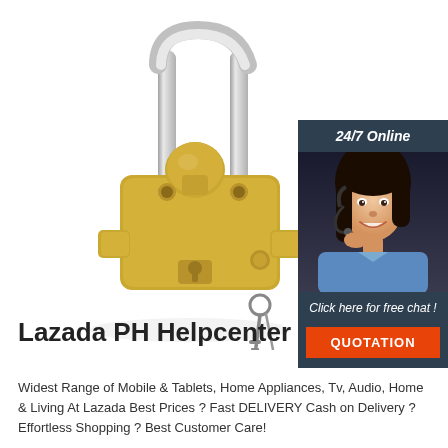[Figure (photo): A yellow trailer hitch ball lock with a silver shackle and a key hanging from it, shown on white background]
[Figure (photo): Side widget showing a smiling woman with headset (customer service agent) with dark background, '24/7 Online' header, 'Click here for free chat!' text and orange 'QUOTATION' button]
Lazada PH Helpcenter
Widest Range of Mobile & Tablets, Home Appliances, Tv, Audio, Home & Living At Lazada Best Prices ? Fast DELIVERY Cash on Delivery ? Effortless Shopping ? Best Customer Care!